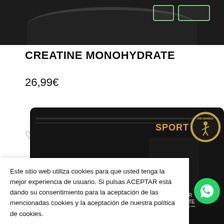[Figure (photo): Top portion of a black supplement container/jar lid, cropped at top of page. Two green placeholder buttons visible top right.]
CREATINE MONOHYDRATE
26,99€
[Figure (photo): Black supplement bottle with Informed Sport badge (gold circle with athlete icon) and 'SPORT' text in orange. Bottom bar shows '203 mg', '6,0 g', and 'PRO ST' branding.]
Este sitio web utiliza cookies para que usted tenga la mejor experiencia de usuario. Si pulsas ACEPTAR está dando su consentimiento para la aceptación de las mencionadas cookies y la aceptación de nuestra política de cookies.
Política de cookies
Acepto